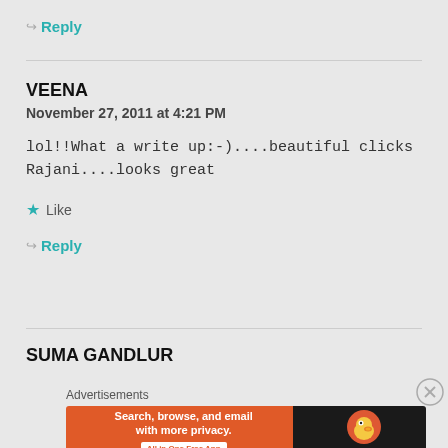↪ Reply
VEENA
November 27, 2011 at 4:21 PM
lol!!What a write up:-)....beautiful clicks Rajani....looks great
★ Like
↪ Reply
SUMA GANDLUR
[Figure (screenshot): DuckDuckGo advertisement banner: orange background on left with text 'Search, browse, and email with more privacy. All in One Free App' and DuckDuckGo duck logo on dark background on right]